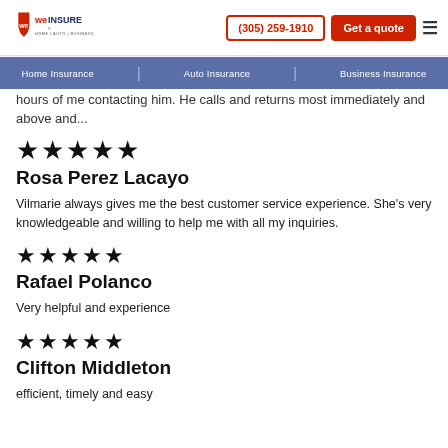we INSURE | (305) 259-1910 | Get a quote
Home Insurance | Auto Insurance | Business Insurance
hours of me contacting him. He calls and returns most immediately and above and...
[Figure (other): 5 star rating (★★★★★)]
Rosa Perez Lacayo
Vilmarie always gives me the best customer service experience. She's very knowledgeable and willing to help me with all my inquiries.
[Figure (other): 5 star rating (★★★★★)]
Rafael Polanco
Very helpful and experience
[Figure (other): 5 star rating (★★★★★)]
Clifton Middleton
efficient, timely and easy